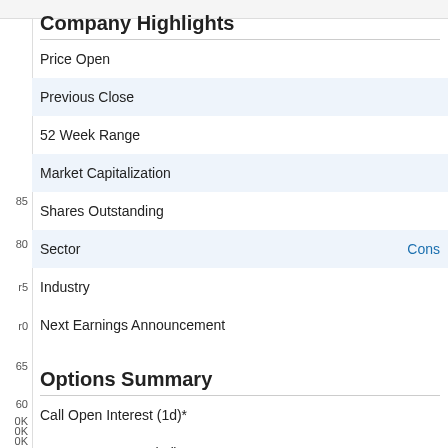Company Highlights
| Field | Value |
| --- | --- |
| Price Open |  |
| Previous Close |  |
| 52 Week Range |  |
| Market Capitalization |  |
| Shares Outstanding |  |
| Sector | Cons… |
| Industry |  |
| Next Earnings Announcement |  |
Options Summary
| Field | Value |
| --- | --- |
| Call Open Interest (1d)* |  |
| Put Open Interest (1d)* |  |
| Call Volume (1d)* |  |
| Put Volume (1d)* |  |
| Put Call Open Interest Ratio (1d)* |  |
| Put Call Volume Ratio (1d)* |  |